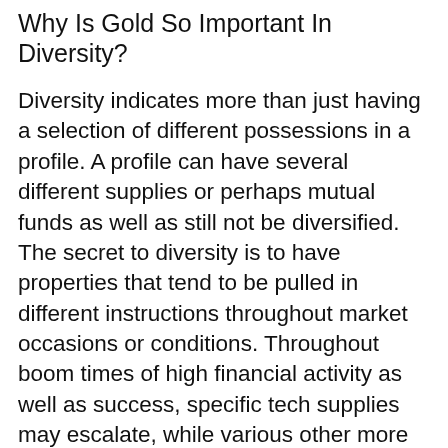Why Is Gold So Important In Diversity?
Diversity indicates more than just having a selection of different possessions in a profile. A profile can have several different supplies or perhaps mutual funds as well as still not be diversified. The secret to diversity is to have properties that tend to be pulled in different instructions throughout market occasions or conditions. Throughout boom times of high financial activity as well as success, specific tech supplies may escalate, while various other more ordinary stocks may stagnate.
What makes gold so distinct and so needed in a diversity strategy is that it has a tendency to relocate the opposite direction